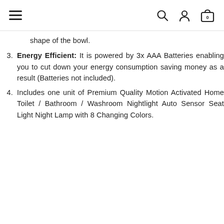≡  🔍  👤  🛍 0
shape of the bowl.
Energy Efficient: It is powered by 3x AAA Batteries enabling you to cut down your energy consumption saving money as a result (Batteries not included).
Includes one unit of Premium Quality Motion Activated Home Toilet / Bathroom / Washroom Nightlight Auto Sensor Seat Light Night Lamp with 8 Changing Colors.